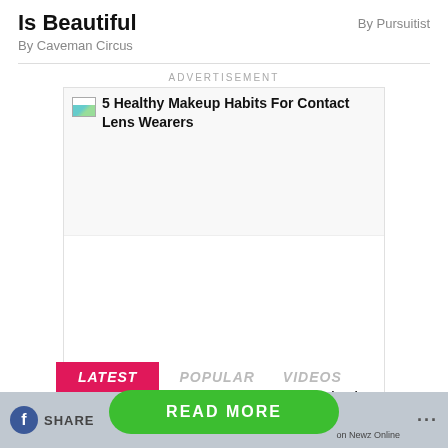Is Beautiful
By Pursuitist
By Caveman Circus
ADVERTISEMENT
[Figure (screenshot): Advertisement image placeholder showing '5 Healthy Makeup Habits For Contact Lens Wearers' with a broken image icon and title text, followed by the article title below]
LATEST
POPULAR
VIDEOS
SHARE   READ MORE   on Newz Online   ...